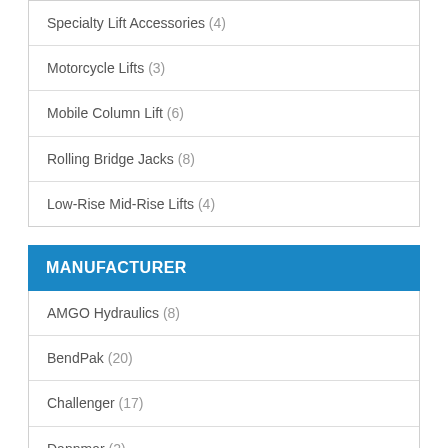Specialty Lift Accessories (4)
Motorcycle Lifts (3)
Mobile Column Lift (6)
Rolling Bridge Jacks (8)
Low-Rise Mid-Rise Lifts (4)
MANUFACTURER
AMGO Hydraulics (8)
BendPak (20)
Challenger (17)
Dannmar (2)
Launch (1)